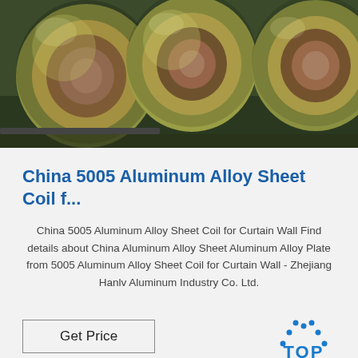[Figure (photo): Large rolls of gold/green-colored aluminum alloy coils stacked in an industrial setting]
China 5005 Aluminum Alloy Sheet Coil f...
China 5005 Aluminum Alloy Sheet Coil for Curtain Wall Find details about China Aluminum Alloy Sheet Aluminum Alloy Plate from 5005 Aluminum Alloy Sheet Coil for Curtain Wall - Zhejiang Hanlv Aluminum Industry Co. Ltd.
[Figure (logo): TOP logo with blue dotted arc and blue text reading TOP]
[Figure (photo): Partial view of an industrial manufacturing facility with aluminum coil processing equipment]